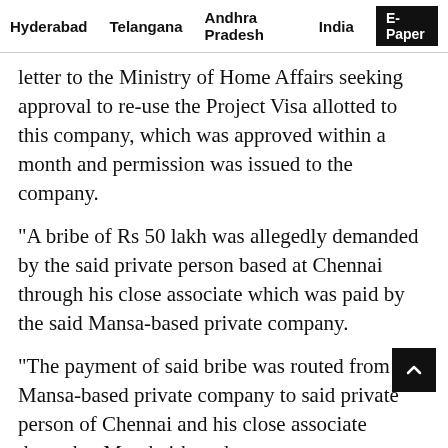Hyderabad   Telangana   Andhra Pradesh   India   E-Paper
letter to the Ministry of Home Affairs seeking approval to re-use the Project Visa allotted to this company, which was approved within a month and permission was issued to the company.
“A bribe of Rs 50 lakh was allegedly demanded by the said private person based at Chennai through his close associate which was paid by the said Mansa-based private company.
“The payment of said bribe was routed from the Mansa-based private company to said private person of Chennai and his close associate through a Mumbai-based company as payment of false invoice raised for Consultancy and out of pocket expenses for the Chinese visas related works whereas the private company based at Mumbai was